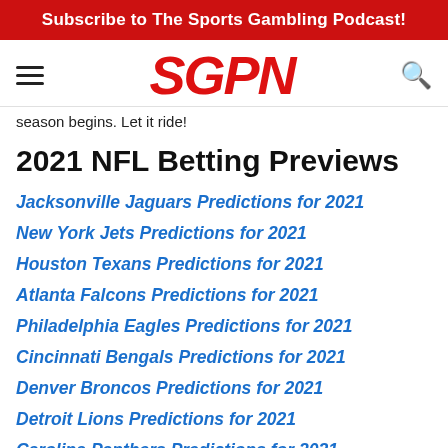Subscribe to The Sports Gambling Podcast!
[Figure (logo): SGPN logo in red italic bold text with hamburger menu icon on left and search icon on right]
season begins. Let it ride!
2021 NFL Betting Previews
Jacksonville Jaguars Predictions for 2021
New York Jets Predictions for 2021
Houston Texans Predictions for 2021
Atlanta Falcons Predictions for 2021
Philadelphia Eagles Predictions for 2021
Cincinnati Bengals Predictions for 2021
Denver Broncos Predictions for 2021
Detroit Lions Predictions for 2021
Carolina Panthers Predictions for 2021
New York Giants Predictions for 2021
San Francisco 49ers Predictions for 2021